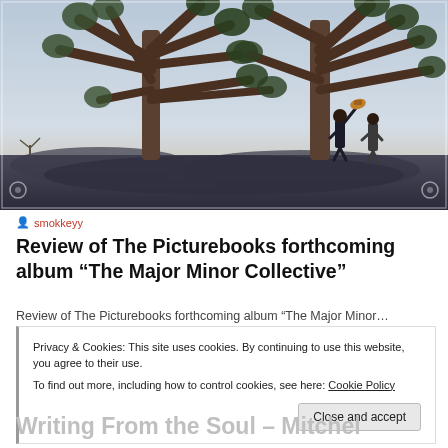[Figure (photo): Outdoor desert photo showing two people standing beneath large Joshua trees against a pale sky. One figure holds a hat in the air.]
smokkeyy
Review of The Picturebooks forthcoming album “The Major Minor Collective”
Review of The Picturebooks forthcoming album “The Major Minor…
Privacy & Cookies: This site uses cookies. By continuing to use this website, you agree to their use.
To find out more, including how to control cookies, see here: Cookie Policy
Close and accept
Writing From the Soul – Mitchel